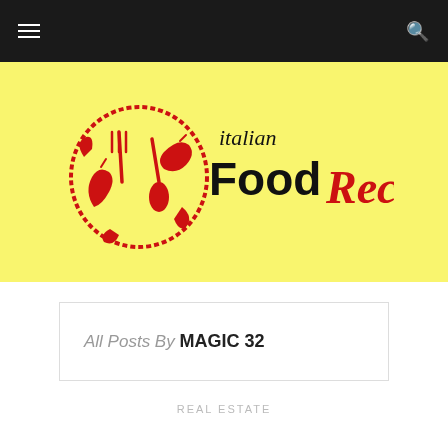Navigation bar with hamburger menu and search icon
[Figure (logo): Italian Food Recipe logo on yellow background — red circular emblem with fork, knife and chili peppers, next to text 'italian FoodRecipe' in black and red handwritten style fonts]
All Posts By MAGIC 32
REAL ESTATE